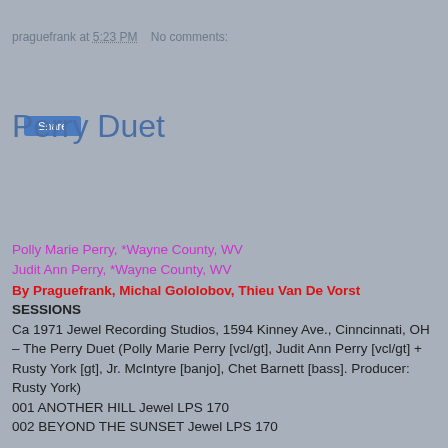praguefrank at 5:23 PM   No comments:
Share
Perry Duet
Polly Marie Perry, *Wayne County, WV
Judit Ann Perry, *Wayne County, WV
By Praguefrank, Michal Gololobov, Thieu Van De Vorst
SESSIONS
Ca 1971 Jewel Recording Studios, 1594 Kinney Ave., Cinncinnati, OH – The Perry Duet (Polly Marie Perry [vcl/gt], Judit Ann Perry [vcl/gt] + Rusty York [gt], Jr. McIntyre [banjo], Chet Barnett [bass]. Producer: Rusty York)
001 ANOTHER HILL Jewel LPS 170
002 BEYOND THE SUNSET Jewel LPS 170